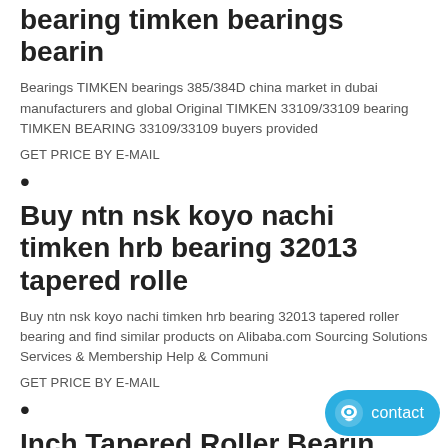bearing timken bearings bearin
Bearings TIMKEN bearings 385/384D china market in dubai manufacturers and global Original TIMKEN 33109/33109 bearing TIMKEN BEARING 33109/33109 buyers provided
GET PRICE BY E-MAIL
•
Buy ntn nsk koyo nachi timken hrb bearing 32013 tapered rolle
Buy ntn nsk koyo nachi timken hrb bearing 32013 tapered roller bearing and find similar products on Alibaba.com Sourcing Solutions Services & Membership Help & Communi
GET PRICE BY E-MAIL
•
Inch Tapered Roller Bearin 32013/china Supplier - Buy Taper